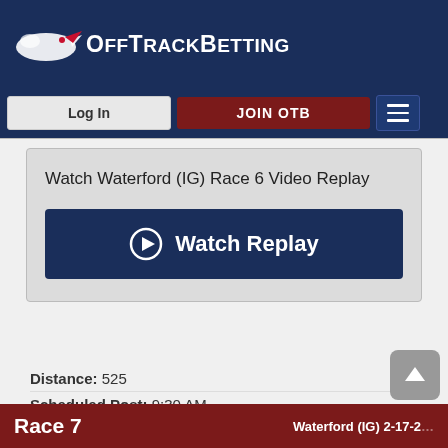OffTrackBetting
Log In
JOIN OTB
Watch Waterford (IG) Race 6 Video Replay
Watch Replay
Distance: 525
Scheduled Post: 9:30 AM
Race 7  Waterford (IG) 2-17-2...